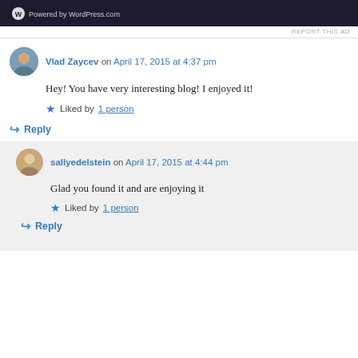[Figure (screenshot): Dark banner with WordPress.com logo/branding]
REPORT THIS AD
Vlad Zaycev on April 17, 2015 at 4:37 pm
Hey! You have very interesting blog! I enjoyed it!
★ Liked by 1 person
↳ Reply
sallyedelstein on April 17, 2015 at 4:44 pm
Glad you found it and are enjoying it
★ Liked by 1 person
↳ Reply